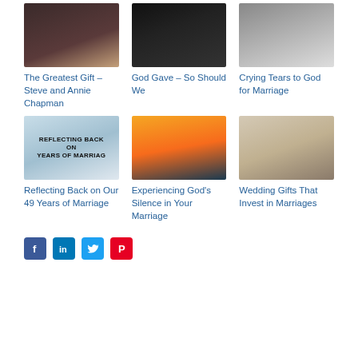[Figure (photo): Woman singing into microphone]
The Greatest Gift – Steve and Annie Chapman
[Figure (photo): Music performance on dark stage with text overlay]
God Gave – So Should We
[Figure (photo): Woman looking upward]
Crying Tears to God for Marriage
[Figure (photo): Hands clasped with text REFLECTING BACK on YEARS of MARRIAGE]
Reflecting Back on Our 49 Years of Marriage
[Figure (photo): Couple holding hands at sunset]
Experiencing God's Silence in Your Marriage
[Figure (photo): Smiling couple]
Wedding Gifts That Invest in Marriages
[Figure (infographic): Social media share icons: Facebook, LinkedIn, Twitter, Pinterest]